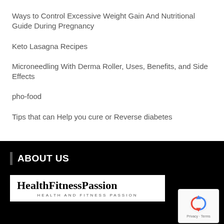Ways to Control Excessive Weight Gain And Nutritional Guide During Pregnancy
Keto Lasagna Recipes
Microneedling With Derma Roller, Uses, Benefits, and Side Effects
pho-food
Tips that can Help you cure or Reverse diabetes
ABOUT US
[Figure (logo): HealthFitnessPassion logo with tagline HEALTH AND FITNESS PASSION]
[Figure (other): reCAPTCHA privacy badge with Privacy and Terms text]